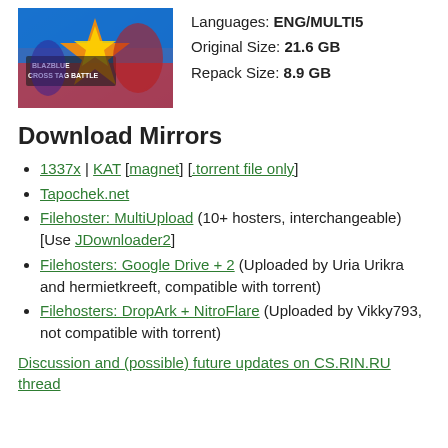[Figure (illustration): BlazBlue Cross Tag Battle game cover art showing stylized anime fighting game characters with colorful explosive background]
Languages: ENG/MULTI5
Original Size: 21.6 GB
Repack Size: 8.9 GB
Download Mirrors
1337x | KAT [magnet] [.torrent file only]
Tapochek.net
Filehoster: MultiUpload (10+ hosters, interchangeable) [Use JDownloader2]
Filehosters: Google Drive + 2 (Uploaded by Uria Urikra and hermietkreeft, compatible with torrent)
Filehosters: DropArk + NitroFlare (Uploaded by Vikky793, not compatible with torrent)
Discussion and (possible) future updates on CS.RIN.RU thread